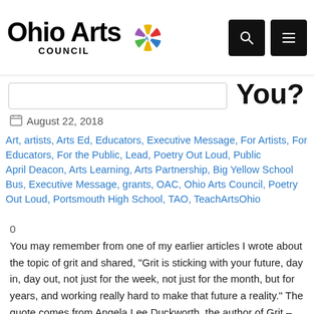Ohio Arts Council
You?
August 22, 2018
Art, artists, Arts Ed, Educators, Executive Message, For Artists, For Educators, For the Public, Lead, Poetry Out Loud, Public April Deacon, Arts Learning, Arts Partnership, Big Yellow School Bus, Executive Message, grants, OAC, Ohio Arts Council, Poetry Out Loud, Portsmouth High School, TAO, TeachArtsOhio
0
You may remember from one of my earlier articles I wrote about the topic of grit and shared, "Grit is sticking with your future, day in, day out, not just for the week, not just for the month, but for years, and working really hard to make that future a reality." The quote comes from Angela Lee Duckworth, the author of Grit – The Power of Passion and Perseverance.